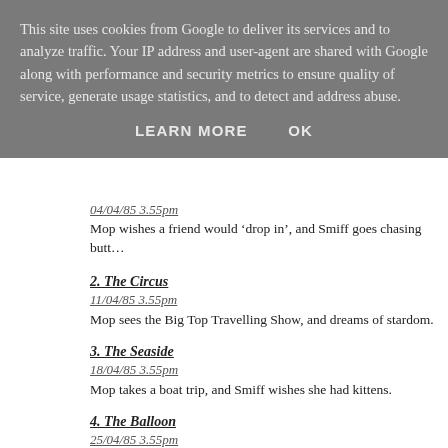This site uses cookies from Google to deliver its services and to analyze traffic. Your IP address and user-agent are shared with Google along with performance and security metrics to ensure quality of service, generate usage statistics, and to detect and address abuse.
LEARN MORE    OK
04/04/85 3.55pm
Mop wishes a friend would ‘drop in’, and Smiff goes chasing butt…
2. The Circus
11/04/85 3.55pm
Mop sees the Big Top Travelling Show, and dreams of stardom.
3. The Seaside
18/04/85 3.55pm
Mop takes a boat trip, and Smiff wishes she had kittens.
4. The Balloon
25/04/85 3.55pm
Mop flies a kite, and Smiff takes an unexpected dip.